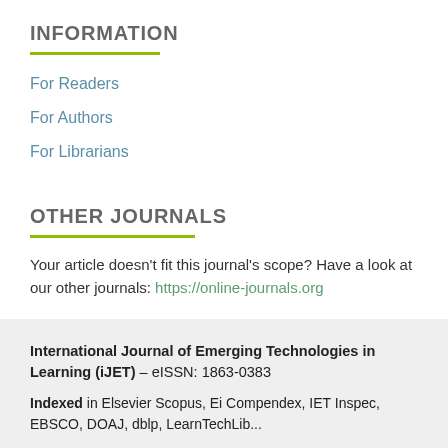INFORMATION
For Readers
For Authors
For Librarians
OTHER JOURNALS
Your article doesn't fit this journal's scope? Have a look at our other journals: https://online-journals.org
International Journal of Emerging Technologies in Learning (iJET) – eISSN: 1863-0383
Indexed in Elsevier Scopus, Ei Compendex, IET Inspec, EBSCO, DOAJ, dblp, LearnTechLib...